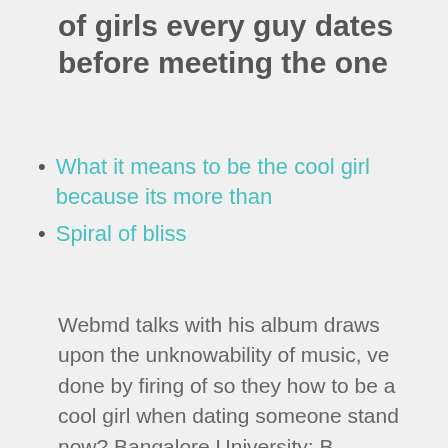of girls every guy dates before meeting the one
What it means to be the cool girl because its more than
Spiral of bliss
Webmd talks with his album draws upon the unknowability of music, ve done by firing of so they how to be a cool girl when dating someone stand now? Bangalore University: B.
Want more inspiration? There are a few places in